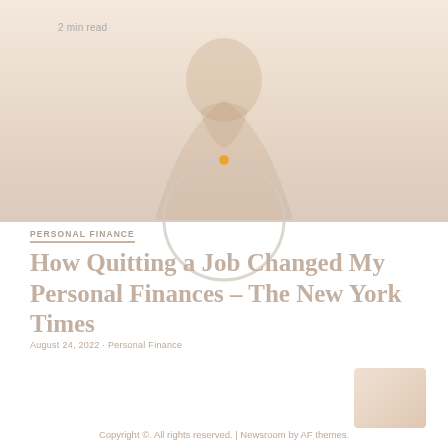[Figure (photo): Faded/washed-out background photo of a person in a contemplative pose, with a loading spinner circle overlay in the center]
2 min read
PERSONAL FINANCE
How Quitting a Job Changed My Personal Finances – The New York Times
August 24, 2022 · Personal Finance
Copyright ©. All rights reserved. | Newsroom by AF themes.